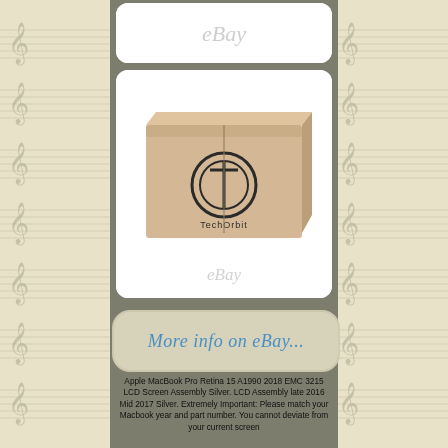[Figure (photo): eBay watermark logo at top, partially visible]
[Figure (photo): TechOrbit branded cardboard box product photo on white background with eBay watermark]
[Figure (screenshot): More info on eBay... button link]
Apple MacBook Pro Retina 15 A1990 2018 EMC 3215 LCD Screen Assembly Silver. LCD Assembly late 2016 Mid 2017 Silver. Extremely Important: Please match your Macbook year and part number. You cannot deviate from your current screen